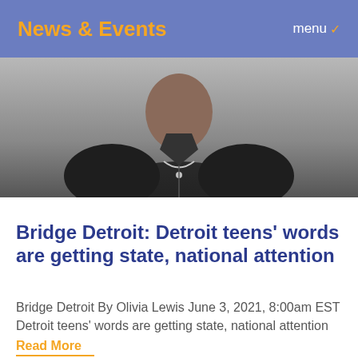News & Events
[Figure (photo): A person wearing a black jacket and silver chain necklace, photographed from chest up against a grey background.]
Bridge Detroit: Detroit teens' words are getting state, national attention
Bridge Detroit By Olivia Lewis June 3, 2021, 8:00am EST Detroit teens' words are getting state, national attention
Read More